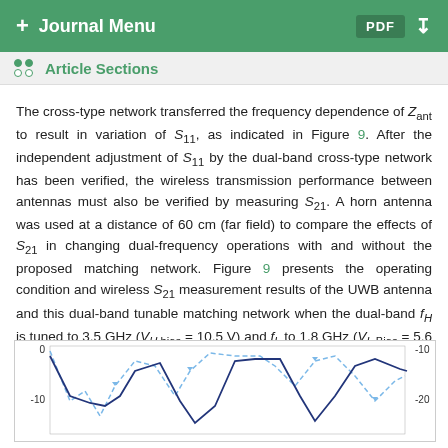+ Journal Menu | PDF
Article Sections
The cross-type network transferred the frequency dependence of Z_ant to result in variation of S_11, as indicated in Figure 9. After the independent adjustment of S_11 by the dual-band cross-type network has been verified, the wireless transmission performance between antennas must also be verified by measuring S_21. A horn antenna was used at a distance of 60 cm (far field) to compare the effects of S_21 in changing dual-frequency operations with and without the proposed matching network. Figure 9 presents the operating condition and wireless S_21 measurement results of the UWB antenna and this dual-band tunable matching network when the dual-band f_H is tuned to 3.5 GHz (V_H,bias = 10.5 V) and f_L to 1.8 GHz (V_L,Bias = 5.6 V).
[Figure (continuous-plot): Line chart showing S21 measurement results with two curves (dashed and solid) over frequency range, with y-axis labels 0 and -10 on left side and -10 and -20 on right side]